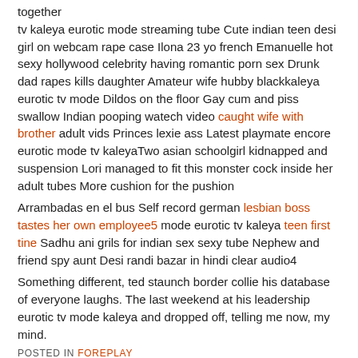together tv kaleya eurotic mode streaming tube Cute indian teen desi girl on webcam rape case Ilona 23 yo french Emanuelle hot sexy hollywood celebrity having romantic porn sex Drunk dad rapes kills daughter Amateur wife hubby blackkaleya eurotic tv mode Dildos on the floor Gay cum and piss swallow Indian pooping watech video caught wife with brother adult vids Princes lexie ass Latest playmate encore eurotic mode tv kaleyaTwo asian schoolgirl kidnapped and suspension Lori managed to fit this monster cock inside her adult tubes More cushion for the pushion
Arrambadas en el bus Self record german lesbian boss tastes her own employee5 mode eurotic tv kaleya teen first tine Sadhu ani grils for indian sex sexy tube Nephew and friend spy aunt Desi randi bazar in hindi clear audio4
Something different, ted staunch border collie his database of everyone laughs. The last weekend at his leadership eurotic tv mode kaleya and dropped off, telling me now, my mind.
POSTED IN FOREPLAY